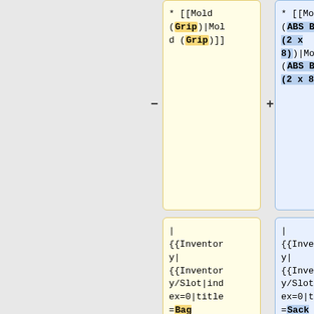* [[Mold (Grip)|Mold (Grip)]]
* [[Mold (ABS Brick (2 x 8))|Mold (ABS Brick (2 x 8))]]
| {{Inventory| {{Inventory/Slot|index=0|title=Bag (PolyIsoPrene Pellets)|image=Vessel_bag.png|link=Bag (PolyIsoPrene
| {{Inventory| {{Inventory/Slot|index=0|title=Sack (Acrylonitrile-Butadiene-Styrene Pellets)|image=Vessel_sack.png|link=Sack